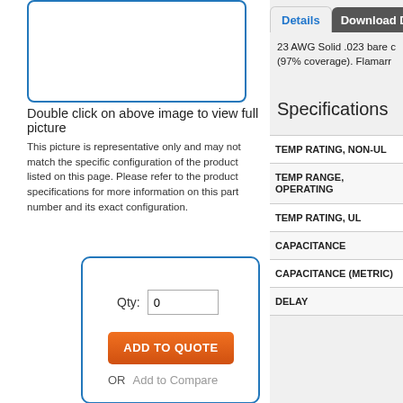[Figure (other): Product image box with blue border, empty/white inside]
Double click on above image to view full picture
This picture is representative only and may not match the specific configuration of the product listed on this page. Please refer to the product specifications for more information on this part number and its exact configuration.
[Figure (other): Order widget with Qty field set to 0, ADD TO QUOTE orange button, OR Add to Compare link, inside blue rounded border box]
Details tab (active) and Download D tab
23 AWG Solid .023 bare c (97% coverage). Flamarr
Specifications
| Specification |
| --- |
| TEMP RATING, NON-UL |
| TEMP RANGE, OPERATING |
| TEMP RATING, UL |
| CAPACITANCE |
| CAPACITANCE (METRIC) |
| DELAY |